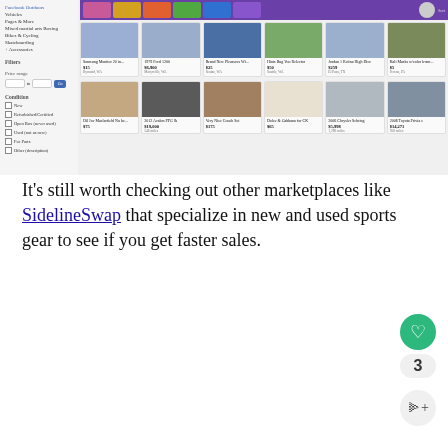[Figure (screenshot): Facebook Marketplace screenshot showing a grid of product listings including electronics, vehicles, clothing, and accessories, with a left sidebar showing filters and categories.]
It's still worth checking out other marketplaces like SidelineSwap that specialize in new and used sports gear to see if you get faster sales.